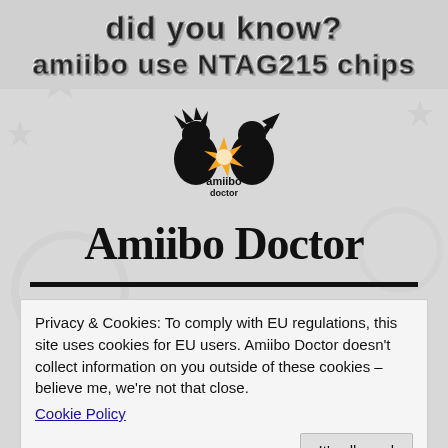did you know? amiibo use NTAG215 chips
[Figure (logo): Amiibo Doctor logo: black silhouettes of two game characters facing each other with an orange starburst between them, with text 'amiibo doctor' below]
Amiibo Doctor
Privacy & Cookies: To comply with EU regulations, this site uses cookies for EU users. Amiibo Doctor doesn't collect information on you outside of these cookies – believe me, we're not that close. Cookie Policy  It's all good